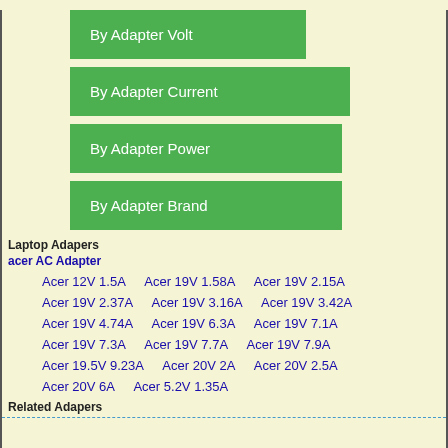By Adapter Volt
By Adapter Current
By Adapter Power
By Adapter Brand
Laptop Adapers
acer AC Adapter
Acer 12V 1.5A
Acer 19V 1.58A
Acer 19V 2.15A
Acer 19V 2.37A
Acer 19V 3.16A
Acer 19V 3.42A
Acer 19V 4.74A
Acer 19V 6.3A
Acer 19V 7.1A
Acer 19V 7.3A
Acer 19V 7.7A
Acer 19V 7.9A
Acer 19.5V 9.23A
Acer 20V 2A
Acer 20V 2.5A
Acer 20V 6A
Acer 5.2V 1.35A
Related Adapers